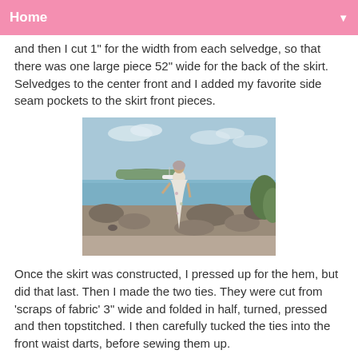Home
and then I cut 1" for the width from each selvedge, so that there was one large piece 52" wide for the back of the skirt.  Selvedges to the center front and I added my favorite side seam pockets to the skirt front pieces.
[Figure (photo): A woman wearing a white floral dress standing on a rocky beach with water and an island visible in the background.]
Once the skirt was constructed, I pressed up for the hem, but did that last.  Then I made the two ties.  They were cut from 'scraps of fabric' 3" wide and folded in half, turned, pressed and then topstitched.  I then carefully tucked the ties into the front waist darts, before sewing them up.